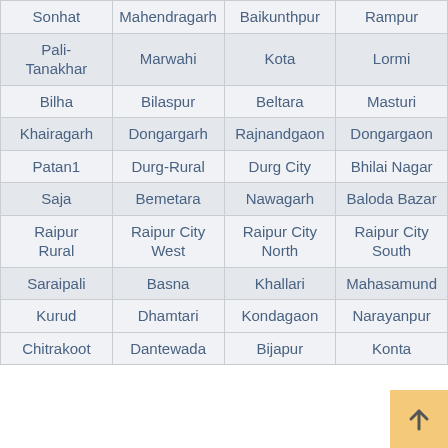| Sonhat | Mahendragarh | Baikunthpur | Rampur |
| Pali-Tanakhar | Marwahi | Kota | Lormi |
| Bilha | Bilaspur | Beltara | Masturi |
| Khairagarh | Dongargarh | Rajnandgaon | Dongargaon |
| Patan1 | Durg-Rural | Durg City | Bhilai Nagar |
| Saja | Bemetara | Nawagarh | Baloda Bazar |
| Raipur Rural | Raipur City West | Raipur City North | Raipur City South |
| Saraipali | Basna | Khallari | Mahasamund |
| Kurud | Dhamtari | Kondagaon | Narayanpur |
| Chitrakoot | Dantewada | Bijapur | Konta |